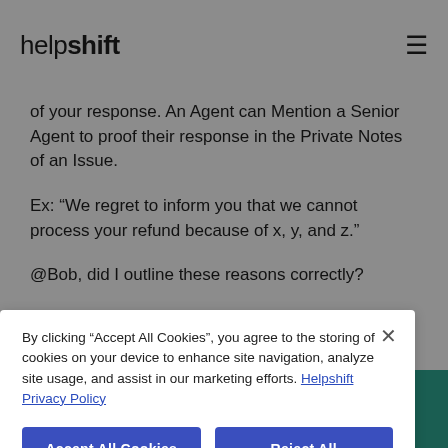helpshift
of your response. An Agent can Mention a Senior Agent to proof their response in the Private Notes of an Issue.
Ex: “We regret to inform you that we cannot process your refund because of x, y, and z.”
@Bob, did I outline these reasons correctly?
By clicking “Accept All Cookies”, you agree to the storing of cookies on your device to enhance site navigation, analyze site usage, and assist in our marketing efforts. Helpshift Privacy Policy
Accept All Cookies
Reject All